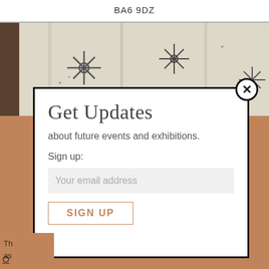BA6 9DZ
[Figure (photo): Close-up of white fabric or textile with embroidered cross/floral patterns in grey/dark thread, partially visible at top of page.]
Get Updates
about future events and exhibitions.
Sign up:
Your email address
SIGN UP
Th as
O